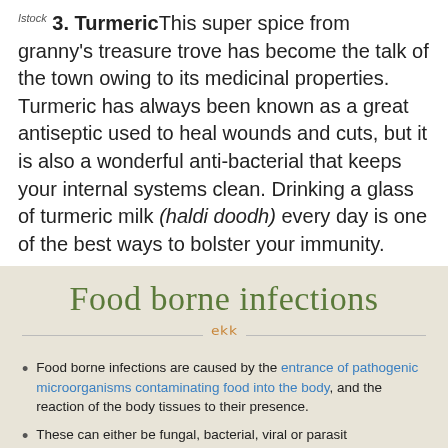Istock 3. Turmeric This super spice from granny's treasure trove has become the talk of the town owing to its medicinal properties. Turmeric has always been known as a great antiseptic used to heal wounds and cuts, but it is also a wonderful anti-bacterial that keeps your internal systems clean. Drinking a glass of turmeric milk (haldi doodh) every day is one of the best ways to bolster your immunity.
[Figure (infographic): Infographic panel with beige background titled 'Food borne infections' with decorative divider and bullet points about food borne infections, plus a red circular button in the bottom right.]